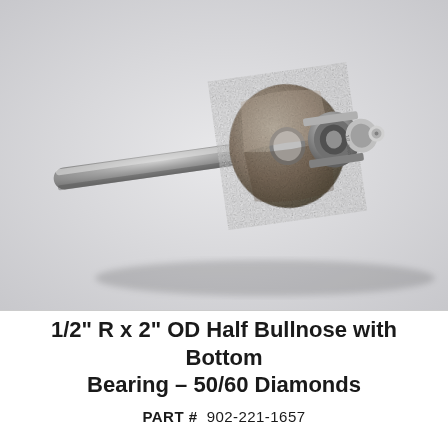[Figure (photo): A diamond half bullnose router bit with bottom bearing. The tool has a long cylindrical shank extending to the left, a round diamond-coated disc/wheel in the center with a textured grit surface, and a metal bearing assembly on the right side. The background is light gray.]
1/2" R x 2" OD Half Bullnose with Bottom Bearing – 50/60 Diamonds
PART # 902-221-1657